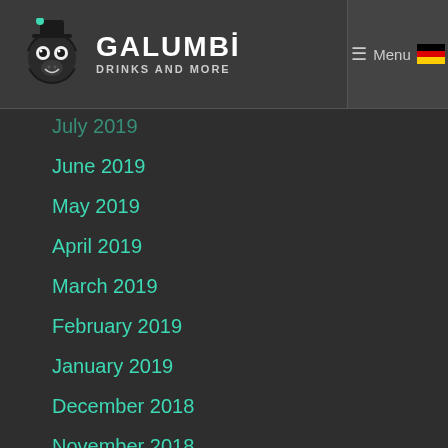GALUMBI DRINKS AND MORE
July 2019
June 2019
May 2019
April 2019
March 2019
February 2019
January 2019
December 2018
November 2018
October 2018
September 2018
August 2018
July 2018
June 2018
May 2018
April 2018